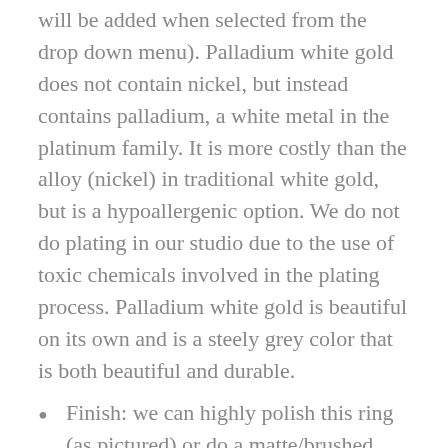will be added when selected from the drop down menu). Palladium white gold does not contain nickel, but instead contains palladium, a white metal in the platinum family. It is more costly than the alloy (nickel) in traditional white gold, but is a hypoallergenic option. We do not do plating in our studio due to the use of toxic chemicals involved in the plating process. Palladium white gold is beautiful on its own and is a steely grey color that is both beautiful and durable.
Finish: we can highly polish this ring (as pictured) or do a matte/brushed finish (please select your preference from the drop-down menu)
hallmarked "14K" and signed "NJM" (Nicole Jo Melton) on the inside band
all the gemstones we use are ethically sourced from reputable gem dealers
Approx. main gemstone size is 4mm (the carat